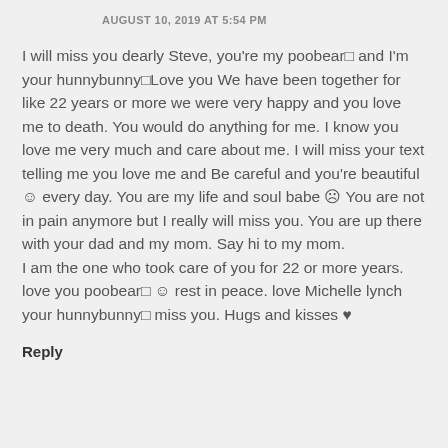AUGUST 10, 2019 AT 5:54 PM
I will miss you dearly Steve, you're my poobear□ and I'm your hunnybunny□Love you We have been together for like 22 years or more we were very happy and you love me to death. You would do anything for me. I know you love me very much and care about me. I will miss your text telling me you love me and Be careful and you're beautiful ☺ every day. You are my life and soul babe ☹ You are not in pain anymore but I really will miss you. You are up there with your dad and my mom. Say hi to my mom.
I am the one who took care of you for 22 or more years. love you poobear□ ☺ rest in peace. love Michelle lynch your hunnybunny□ miss you. Hugs and kisses ♥
Reply